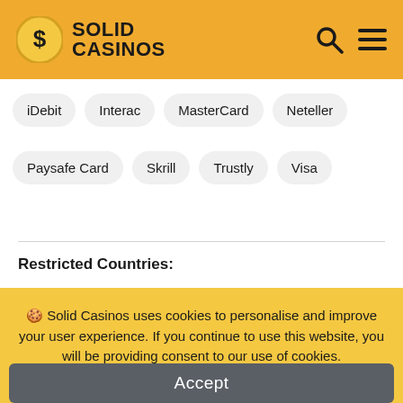SOLID CASINOS
iDebit
Interac
MasterCard
Neteller
Paysafe Card
Skrill
Trustly
Visa
Restricted Countries:
🍪 Solid Casinos uses cookies to personalise and improve your user experience. If you continue to use this website, you will be providing consent to our use of cookies.
Accept